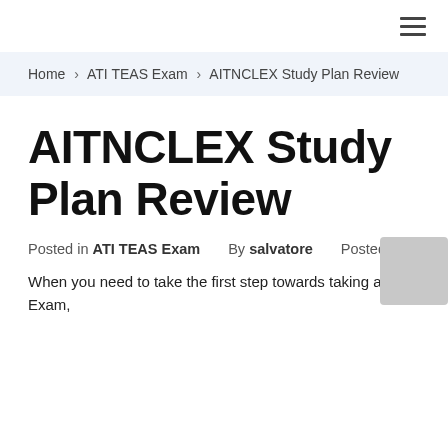≡ (hamburger menu icon)
Home › ATI TEAS Exam › AITNCLEX Study Plan Review
AITNCLEX Study Plan Review
Posted in ATI TEAS Exam   By salvatore   Posted on
When you need to take the first step towards taking an AP Exam,